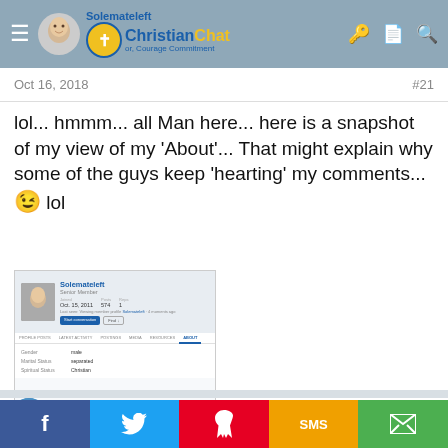Solemateleft | ChristianChat — Courage Commitment
Oct 16, 2018   #21
lol... hmmm... all Man here... here is a snapshot of my view of my 'About'... That might explain why some of the guys keep 'hearting' my comments... 😉 lol
[Figure (screenshot): Screenshot of a ChristianChat user profile 'About' page for user Solemateleft, showing Senior Member status, joined Oct 15 2011, posts 574, spiritual status: Christian]
😆 1   Show all